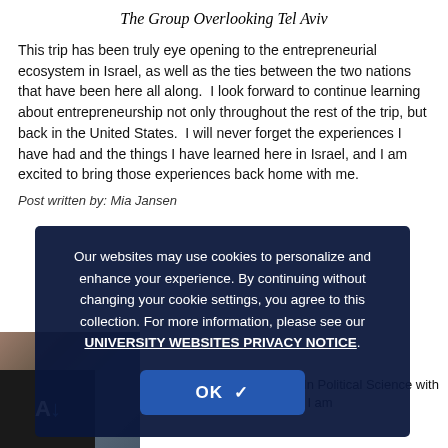The Group Overlooking Tel Aviv
This trip has been truly eye opening to the entrepreneurial ecosystem in Israel, as well as the ties between the two nations that have been here all along.  I look forward to continue learning about entrepreneurship not only throughout the rest of the trip, but back in the United States.  I will never forget the experiences I have had and the things I have learned here in Israel, and I am excited to bring those experiences back home with me.
Post written by: Mia Jansen
[Figure (photo): Partially visible group photo, obscured by cookie consent overlay]
Our websites may use cookies to personalize and enhance your experience. By continuing without changing your cookie settings, you agree to this collection. For more information, please see our UNIVERSITY WEBSITES PRIVACY NOTICE.
OK ✓
Jensen. I am a ... In Political Science with a minor in ASL/English Interpreting. I am